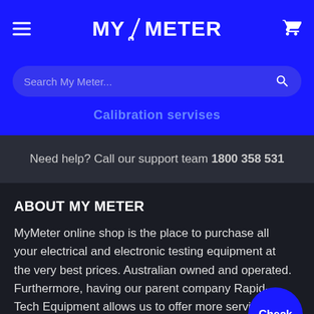MY/METER
Search My Meter...
Calibration servises
Need help? Call our support team 1800 358 531
ABOUT MY METER
MyMeter online shop is the place to purchase all your electrical and electronic testing equipment at the very best prices. Australian owned and operated. Furthermore, having our parent company Rapid-Tech Equipment allows us to offer more services and become a big part for our